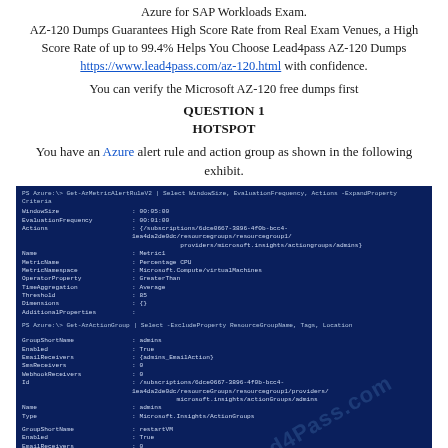Azure for SAP Workloads Exam. AZ-120 Dumps Guarantees High Score Rate from Real Exam Venues, a High Score Rate of up to 99.4% Helps You Choose Lead4pass AZ-120 Dumps https://www.lead4pass.com/az-120.html with confidence.
You can verify the Microsoft AZ-120 free dumps first
QUESTION 1
HOTSPOT
You have an Azure alert rule and action group as shown in the following exhibit.
[Figure (screenshot): PowerShell terminal screenshot showing Azure metric alert rule and action group configuration. The terminal shows a dark blue background with commands Get-AzMetricAlertRuleV2 and Get-AzActionGroup with their output properties including WindowSize, EvaluationFrequency, Actions, Name (Metric1), MetricName (Percentage CPU), MetricNamespace (Microsoft.Compute/virtualMachines), OperatorProperty (GreaterThan), TimeAggregation (Average), Threshold (85), Dimensions, AdditionalProperties. Action groups shown: admins (with EmailReceivers: admins_EmailAction, SmsReceivers: 0, WebhookReceivers: 0) and restartVM (with EmailReceivers: 0, SmsReceivers: 0, WebhookReceivers: 0).]